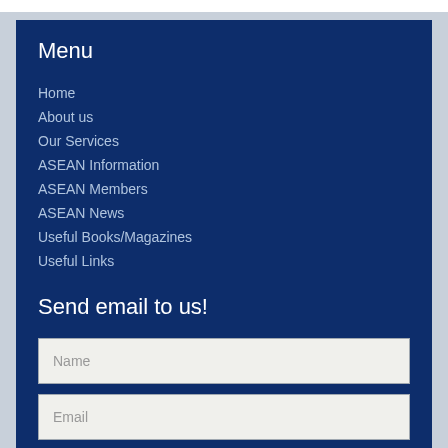Menu
Home
About us
Our Services
ASEAN Information
ASEAN Members
ASEAN News
Useful Books/Magazines
Useful Links
Send email to us!
Name
Email
Phone